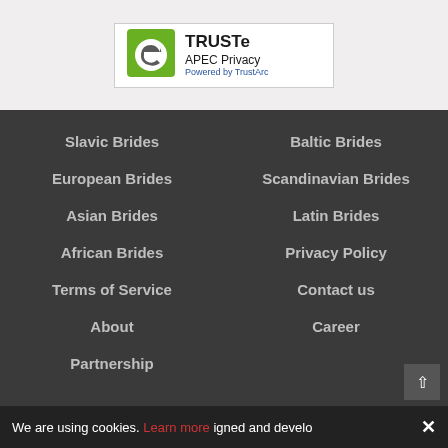[Figure (logo): TRUSTe APEC Privacy badge - Powered by TrustArc logo with green shield and stylized 'e' icon]
Slavic Brides
Baltic Brides
European Brides
Scandinavian Brides
Asian Brides
Latin Brides
African Brides
Privacy Policy
Terms of Service
Contact us
About
Career
Partnership
We are using cookies. Learn more igned and develo...